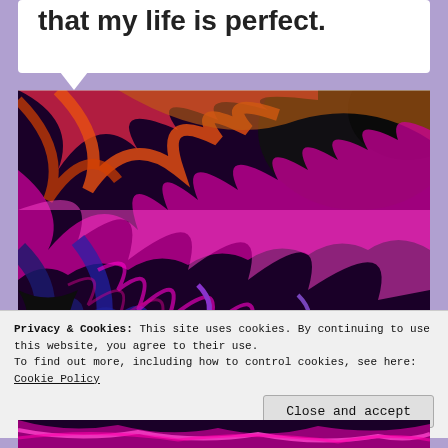that my life is perfect.
[Figure (illustration): Colorful psychedelic fractal image with swirling patterns of pink, purple, black, orange, red, and green.]
Privacy & Cookies: This site uses cookies. By continuing to use this website, you agree to their use.
To find out more, including how to control cookies, see here: Cookie Policy
Close and accept
[Figure (illustration): Bottom strip of another colorful psychedelic fractal image.]